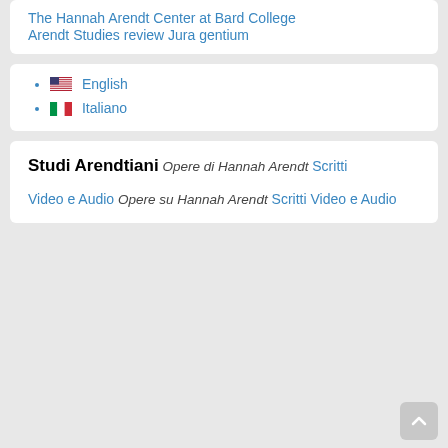The Hannah Arendt Center at Bard College
Arendt Studies review
Jura gentium
English
Italiano
Studi Arendtiani
Opere di Hannah Arendt
Scritti
Video e Audio
Opere su Hannah Arendt
Scritti
Video e Audio